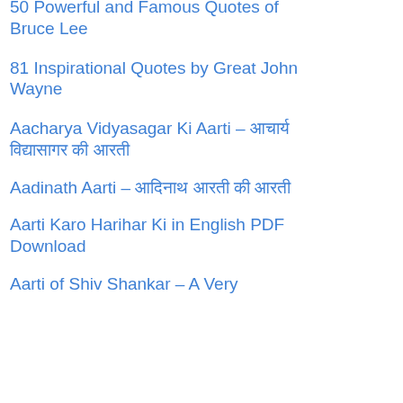50 Powerful and Famous Quotes of Bruce Lee
81 Inspirational Quotes by Great John Wayne
Aacharya Vidyasagar Ki Aarti – आचार्य विद्यासागर की आरती
Aadinath Aarti – आदिनाथ आरती की आरती
Aarti Karo Harihar Ki in English PDF Download
Aarti of Shiv Shankar – A Very